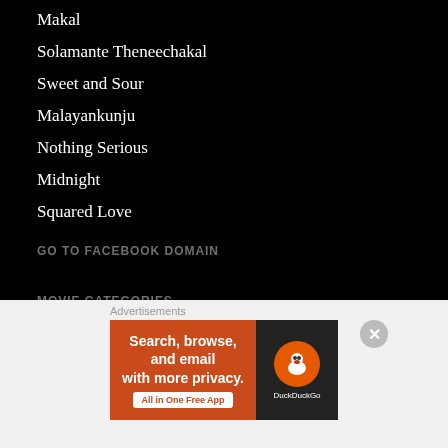Makal
Solamante Theneechakal
Sweet and Sour
Malayankunju
Nothing Serious
Midnight
Squared Love
GO TO FACEBOOK DOMAIN
MOVIE CATEGORIES
Select Category
REVIEW ARCHIVES
[Figure (screenshot): DuckDuckGo advertisement banner with orange background text 'Search, browse, and email with more privacy. All in One Free App' and DuckDuckGo logo on dark background. Close button (X) in top right corner. Labeled 'Advertisements'.]